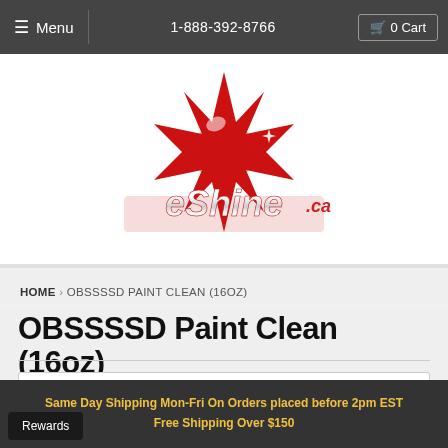≡ Menu  |  1-888-392-8766  |  0 Cart
[Figure (logo): eShine.ca logo with red maple leaf / starburst shape and chrome-style 'eShine.ca' text]
HOME › OBSSSSD PAINT CLEAN (16OZ)
OBSSSSD Paint Clean (16oz)
[Figure (other): White product image box area (partially visible, bottom of page)]
Same Day Shipping Mon-Fri On Orders placed before 2pm EST
Free Shipping Over $150
Rewards